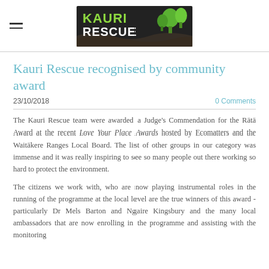Kauri Rescue
Kauri Rescue recognised by community award
23/10/2018
0 Comments
The Kauri Rescue team were awarded a Judge's Commendation for the Rātā Award at the recent Love Your Place Awards hosted by Ecomatters and the Waitākere Ranges Local Board. The list of other groups in our category was immense and it was really inspiring to see so many people out there working so hard to protect the environment.
The citizens we work with, who are now playing instrumental roles in the running of the programme at the local level are the true winners of this award - particularly Dr Mels Barton and Ngaire Kingsbury and the many local ambassadors that are now enrolling in the programme and assisting with the monitoring